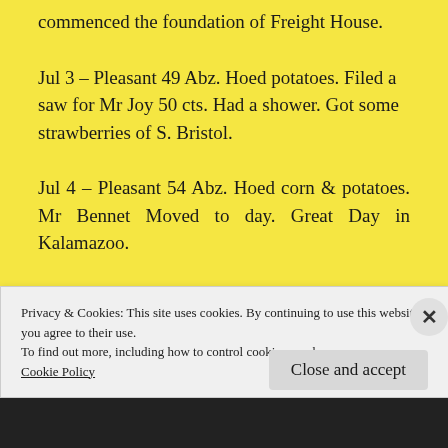commenced the foundation of Freight House.
Jul 3 – Pleasant 49 Abz. Hoed potatoes. Filed a saw for Mr Joy 50 cts. Had a shower. Got some strawberries of S. Bristol.
Jul 4 – Pleasant 54 Abz. Hoed corn & potatoes. Mr Bennet Moved to day. Great Day in Kalamazoo.
Jul 5 – Pleasant 60 Abz. W...
Privacy & Cookies: This site uses cookies. By continuing to use this website, you agree to their use.
To find out more, including how to control cookies, see here:
Cookie Policy
Close and accept